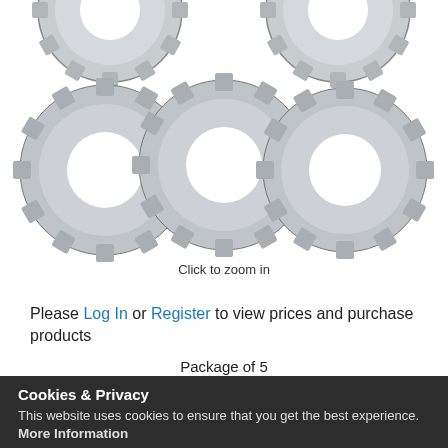[Figure (photo): Five internal tooth lock washers (star washers) arranged in two rows on white background — three in the front row and two partially visible at top.]
Click to zoom in
Please Log In or Register to view prices and purchase products
Package of 5
✓ In Stock
Cookies & Privacy
This website uses cookies to ensure that you get the best experience.
More Information